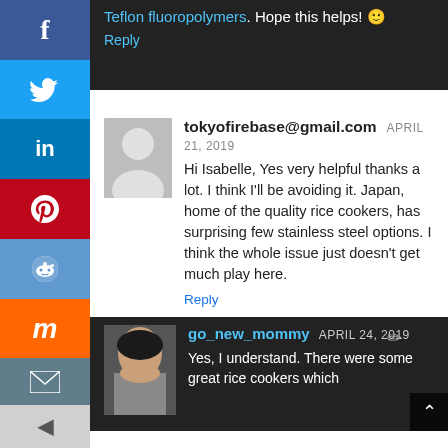Teflon fluoropolymers. Hope this helps! 🙂 Reply
tokyofirebase@gmail.com APRIL 21, 2019
Hi Isabelle, Yes very helpful thanks a lot. I think I'll be avoiding it. Japan, home of the quality rice cookers, has surprising few stainless steel options. I think the whole issue just doesn't get much play here.
Reply
go_new_mommy APRIL 24, 2019
Yes, I understand. There were some great rice cookers which